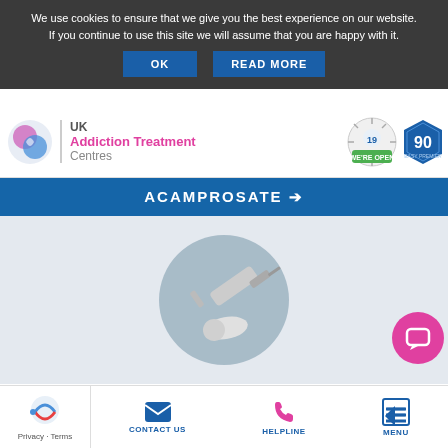We use cookies to ensure that we give you the best experience on our website. If you continue to use this site we will assume that you are happy with it.
OK | READ MORE
[Figure (logo): UK Addiction Treatment Centres logo with pink/purple hands icon]
[Figure (logo): COVID-19 We're Open badge and 90 Easy Premier badge]
ACAMPROSATE →
[Figure (illustration): Syringe and pill medical icon on grey circular background]
Buprenorphine
Privacy · Terms | CONTACT US | HELPLINE | MENU